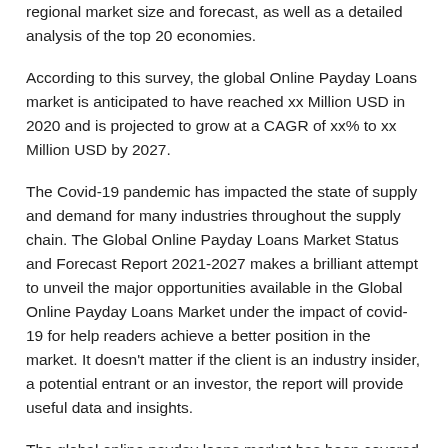regional market size and forecast, as well as a detailed analysis of the top 20 economies.
According to this survey, the global Online Payday Loans market is anticipated to have reached xx Million USD in 2020 and is projected to grow at a CAGR of xx% to xx Million USD by 2027.
The Covid-19 pandemic has impacted the state of supply and demand for many industries throughout the supply chain. The Global Online Payday Loans Market Status and Forecast Report 2021-2027 makes a brilliant attempt to unveil the major opportunities available in the Global Online Payday Loans Market under the impact of covid-19 for help readers achieve a better position in the market. It doesn't matter if the client is an industry insider, a potential entrant or an investor, the report will provide useful data and insights.
The global online payday loans market has been covered in detail in the following chapters